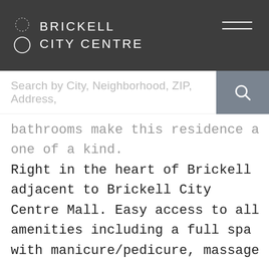BRICKELL CITY CENTRE
Search by City, Neighborhood, ZIP, Address,
bathrooms make this residence a one of a kind. Right in the heart of Brickell adjacent to Brickell City Centre Mall. Easy access to all amenities including a full spa with manicure/pedicure, massage room, hairstylist, and a Hamman Spa. Private club room with high-end kitchen and movie room, fully equipped gym with Peloton bikes, childrens indoor/outdoor playroom, and a private pool with cabanas and summer kitchen stations for residents. Basic internet included.